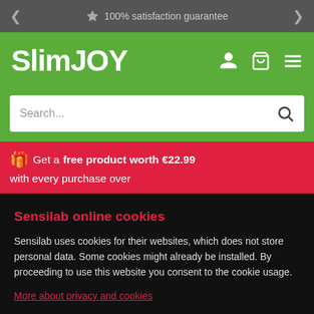100% satisfaction guarantee
SlimJOY
Search...
🎁 Get a free product worth €22.99 with every purchase over
Sensilab online cookies
Sensilab uses cookies for their websites, which does not store personal data. Some cookies might already be installed. By proceeding to use this website you consent to the cookie usage.
More about privacy and cookies
ALLOW ALL COOKIES